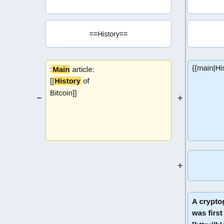[Figure (flowchart): Wikipedia diff-style comparison flowchart showing two columns. Left column has a box with '==History==' and below it a yellow box with ':Main article: [[History of Bitcoin]]' with highlighted words. Right column has '==History==' box, a blue box with '{{main|History}}', another empty blue box, and a large blue text box starting with 'A cryptographic system for untraceable payments was first described by David Chaum in 1982. <ref>[http://blog.koehntopp.de/uploads/Chaum.BlindSigForPayment.1982.PDF David Chaum, Blind'. Plus and minus signs indicate additions and removals.]